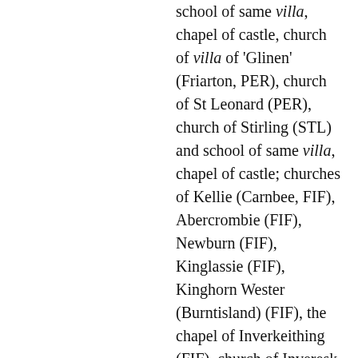school of same villa, chapel of castle, church of villa of 'Glinen' (Friarton, PER), church of St Leonard (PER), church of Stirling (STL) and school of same villa, chapel of castle; churches of Kellie (Carnbee, FIF), Abercrombie (FIF), Newburn (FIF), Kinglassie (FIF), Kinghorn Wester (Burntisland) (FIF), the chapel of Inverkeithing (FIF), church of Inveresk (MLO) with chapel